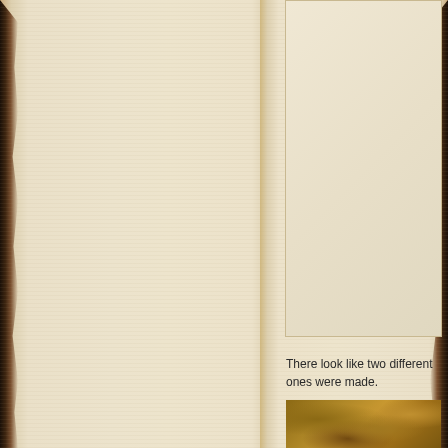[Figure (illustration): Aged parchment scroll background with burnt/torn edges on left panel and separate right panel with inner lighter rectangle area]
There look like two different ones were made.
[Figure (photo): Close-up photo of a rough, sandy or rocky brownish textured surface]